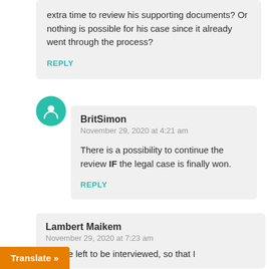extra time to review his supporting documents? Or nothing is possible for his case since it already went through the process?
REPLY
BritSimon
November 29, 2020 at 4:21 am
There is a possibility to continue the review IF the legal case is finally won.
REPLY
Lambert Maikem
November 29, 2020 at 7:23 am
ole are left to be interviewed, so that I
Translate »